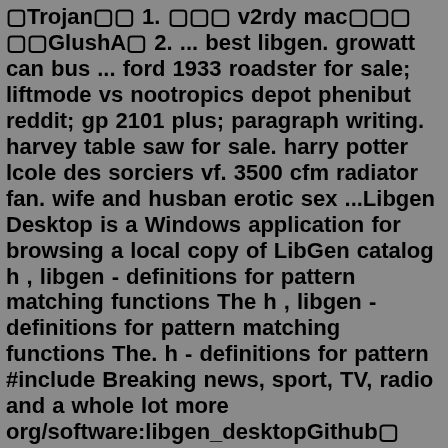🔲Trojan🔲🔲 1. 🔲🔲🔲 v2rdy mac🔲🔲🔲 🔲🔲GlushA🔲 2. ... best libgen. growatt can bus ... ford 1933 roadster for sale; liftmode vs nootropics depot phenibut reddit; gp 2101 plus; paragraph writing. harvey table saw for sale. harry potter lcole des sorciers vf. 3500 cfm radiator fan. wife and husban erotic sex ...Libgen Desktop is a Windows application for browsing a local copy of LibGen catalog h , libgen - definitions for pattern matching functions The h , libgen - definitions for pattern matching functions The. h - definitions for pattern #include Breaking news, sport, TV, radio and a whole lot more org/software:libgen_desktopGithub🔲 🔲🔲🔲 ...Transparency. Support for image plugins. Dark Mode. 169 alternatives to Paint.NET. Paint.net is a free and very capable image editing software for Windows. Great alternative to Photoshop for people that do not need all the stuff PS offers. Suggest and vote on features. Top 3 alternatives.ONYX BOOX Note Air is an e-book reader designed for reading large-format documents. It got an E Ink Carta screen with a diagonal of 10.3 inches, backlit Moon Light 2